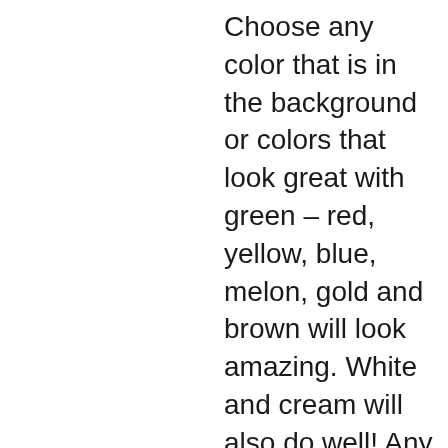Choose any color that is in the background or colors that look great with green – red, yellow, blue, melon, gold and brown will look amazing. White and cream will also do well! Any shade of green will also be great!
AVOID: Bold patterns, stripes, large logos & writing.
SEND: Fresh flowers, wooden toys, dolls, jewelry